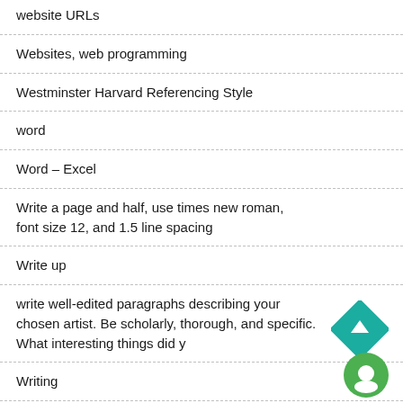website URLs
Websites, web programming
Westminster Harvard Referencing Style
word
Word – Excel
Write a page and half, use times new roman, font size 12, and 1.5 line spacing
Write up
write well-edited paragraphs describing your chosen artist. Be scholarly, thorough, and specific. What interesting things did y
Writing